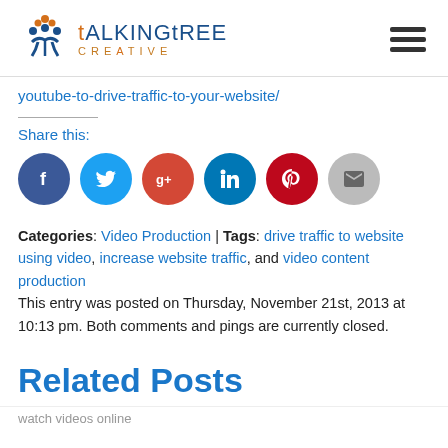[Figure (logo): Talking Tree Creative logo with stylized tree/people icon and text]
youtube-to-drive-traffic-to-your-website/
Share this:
[Figure (infographic): Row of social media share icons: Facebook, Twitter, Google+, LinkedIn, Pinterest, Email]
Categories: Video Production | Tags: drive traffic to website using video, increase website traffic, and video content production
This entry was posted on Thursday, November 21st, 2013 at 10:13 pm. Both comments and pings are currently closed.
Related Posts
watch videos online